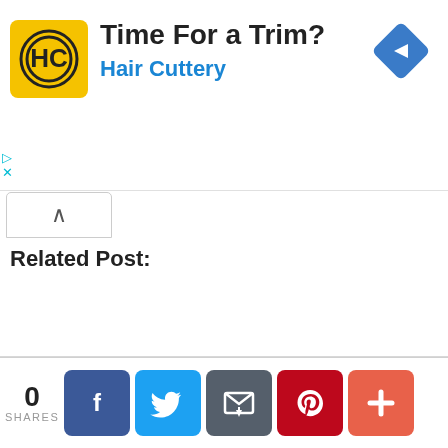[Figure (screenshot): Hair Cuttery advertisement banner with yellow logo, 'Time For a Trim?' headline, and blue navigation arrow icon]
Related Post:
[Figure (other): Back arrow circle button for navigation]
[Figure (screenshot): Social share buttons row: Facebook (blue), Twitter (light blue), Plus (orange-red)]
0 SHARES — Facebook, Twitter, Email, Pinterest, Plus share buttons